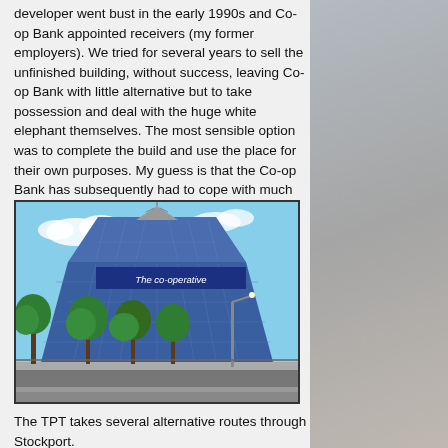developer went bust in the early 1990s and Co-op Bank appointed receivers (my former employers). We tried for several years to sell the unfinished building, without success, leaving Co-op Bank with little alternative but to take possession and deal with the huge white elephant themselves. The most sensible option was to complete the build and use the place for their own purposes. My guess is that the Co-op Bank has subsequently had to cope with much tougher problems!
[Figure (photo): Photograph of a large pyramid-shaped glass building with blue reflective panels. The building has 'The co-operative' written in white text near the top. Green trees are visible in the foreground, along with a street lamp and a road.]
The TPT takes several alternative routes through Stockport.